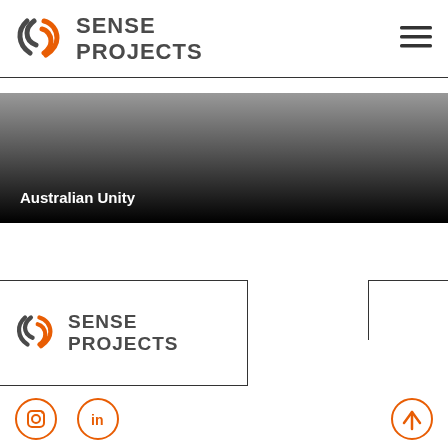[Figure (logo): Sense Projects logo in header — circular swirl icon with orange and dark grey, text SENSE PROJECTS in dark grey bold uppercase]
[Figure (other): Hamburger menu icon (three horizontal lines) in top right]
[Figure (photo): Dark gradient banner image (grey to black) with text 'Australian Unity' in white bold at bottom left]
[Figure (logo): Sense Projects logo in footer area — same circular swirl icon with orange and dark grey, text SENSE PROJECTS in dark grey bold uppercase, inside bordered box]
[Figure (other): Social media icons row at bottom: Instagram circle icon, LinkedIn circle icon, and up-arrow circle icon on the right]